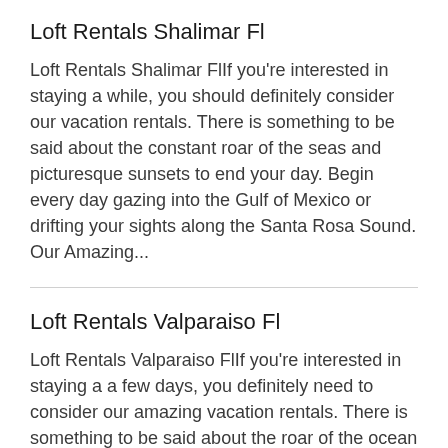Loft Rentals Shalimar Fl
Loft Rentals Shalimar FlIf you're interested in staying a while, you should definitely consider our vacation rentals. There is something to be said about the constant roar of the seas and picturesque sunsets to end your day. Begin every day gazing into the Gulf of Mexico or drifting your sights along the Santa Rosa Sound. Our Amazing...
Loft Rentals Valparaiso Fl
Loft Rentals Valparaiso FlIf you're interested in staying a a few days, you definitely need to consider our amazing vacation rentals. There is something to be said about the roar of the ocean and perfect sunsets to end your day. Start every day gazing into the Gulf of Mexico or...